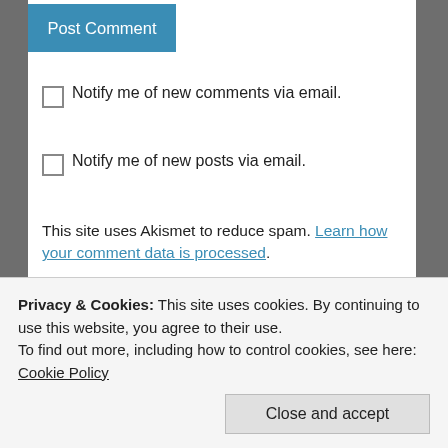Post Comment
Notify me of new comments via email.
Notify me of new posts via email.
This site uses Akismet to reduce spam. Learn how your comment data is processed.
Wit, raconteur, bon vivant, style guru. Nobel Prize winner, modern-day secular saint, best-selling author, avidly followed blogger.
[Figure (photo): Close-up photo of a dog or animal face against a blue sky background]
Privacy & Cookies: This site uses cookies. By continuing to use this website, you agree to their use. To find out more, including how to control cookies, see here: Cookie Policy
Close and accept